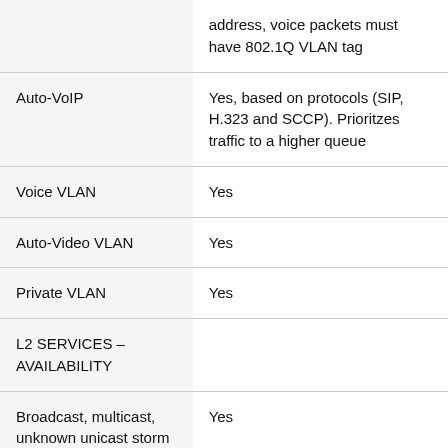| Feature | Description |
| --- | --- |
|  | address, voice packets must have 802.1Q VLAN tag |
| Auto-VoIP | Yes, based on protocols (SIP, H.323 and SCCP). Prioritzes traffic to a higher queue |
| Voice VLAN | Yes |
| Auto-Video VLAN | Yes |
| Private VLAN | Yes |
| L2 SERVICES – AVAILABILITY |  |
| Broadcast, multicast, unknown unicast storm control | Yes |